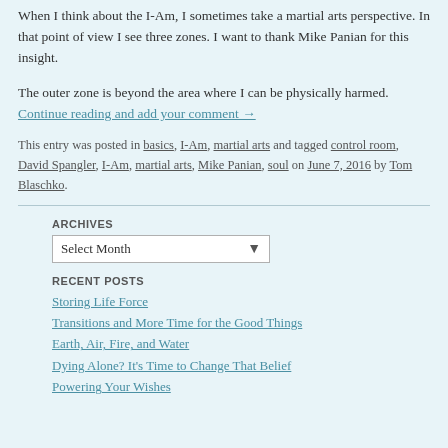When I think about the I-Am, I sometimes take a martial arts perspective. In that point of view I see three zones. I want to thank Mike Panian for this insight.
The outer zone is beyond the area where I can be physically harmed. Continue reading and add your comment →
This entry was posted in basics, I-Am, martial arts and tagged control room, David Spangler, I-Am, martial arts, Mike Panian, soul on June 7, 2016 by Tom Blaschko.
ARCHIVES
Select Month
RECENT POSTS
Storing Life Force
Transitions and More Time for the Good Things
Earth, Air, Fire, and Water
Dying Alone? It's Time to Change That Belief
Powering Your Wishes